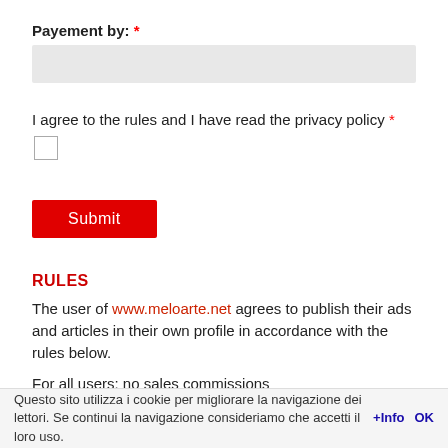Payement by: *
I agree to the rules and I have read the privacy policy *
Submit
RULES
The user of www.meloarte.net agrees to publish their ads and articles in their own profile in accordance with the rules below.
For all users: no sales commissions
Each artist will be responsible for the sale of his artworks.
Contents
Questo sito utilizza i cookie per migliorare la navigazione dei lettori. Se continui la navigazione consideriamo che accetti il loro uso. +Info OK